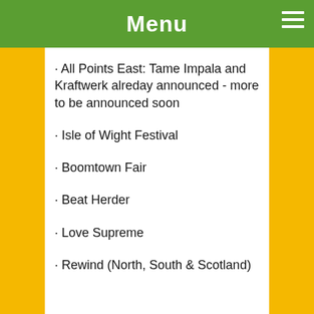Menu
· All Points East: Tame Impala and Kraftwerk alreday announced - more to be announced soon
· Isle of Wight Festival
· Boomtown Fair
· Beat Herder
· Love Supreme
· Rewind (North, South & Scotland)